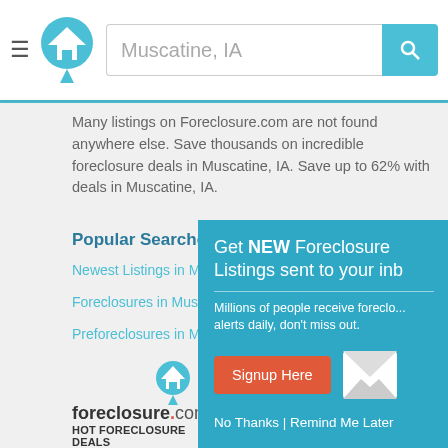Muscatine, IA [search bar with logo]
Many listings on Foreclosure.com are not found anywhere else. Save thousands on incredible foreclosure deals in Muscatine, IA. Save up to 62% with deals in Muscatine, IA.
Popular Searches
Newest Listings in Mu...
Foreclosures in Musc...
Preforeclosures in Mu...
Get NEW Foreclosure Listings sent to your inb...
Millions of people receive foreclo... alerts daily, don't miss out.
Signup Here
No Thanks | Remind Me Later
[Figure (logo): foreclosure.com logo with house pin icon above]
HOT FORECLOSURE DEALS
with one simple search